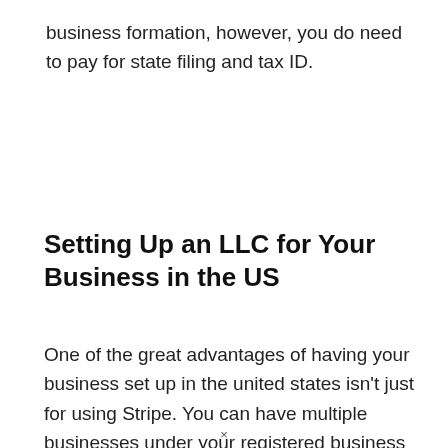business formation, however, you do need to pay for state filing and tax ID.
Setting Up an LLC for Your Business in the US
One of the great advantages of having your business set up in the united states isn't just for using Stripe. You can have multiple businesses under your registered business name in the US.
×